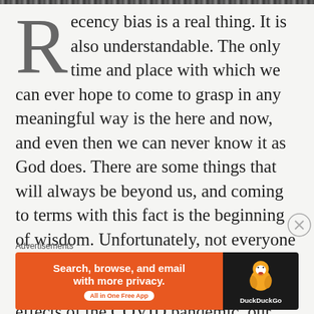Recency bias is a real thing. It is also understandable. The only time and place with which we can ever hope to come to grasp in any meaningful way is the here and now, and even then we can never know it as God does. There are some things that will always be beyond us, and coming to terms with this fact is the beginning of wisdom. Unfortunately, not everyone thinks this way. With inflation, the threat of World War III, and lingering effects of the COVID pandemic, our existence is filled with seeming reminders that the sky is falling. As a
Advertisements
[Figure (other): DuckDuckGo advertisement banner with orange left section reading 'Search, browse, and email with more privacy. All in One Free App' and dark right section with DuckDuckGo duck logo and brand name.]